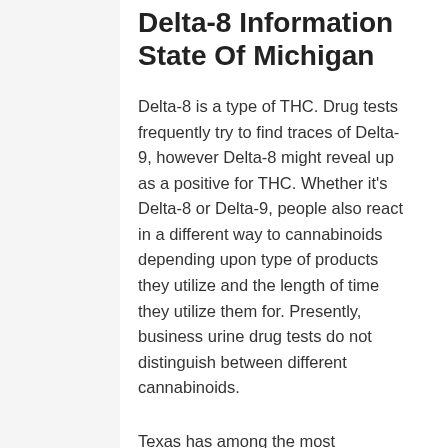Delta-8 Information State Of Michigan
Delta-8 is a type of THC. Drug tests frequently try to find traces of Delta-9, however Delta-8 might reveal up as a positive for THC. Whether it’s Delta-8 or Delta-9, people also react in a different way to cannabinoids depending upon type of products they utilize and the length of time they utilize them for. Presently, business urine drug tests do not distinguish between different cannabinoids.
Texas has among the most restrictive medical marijuana laws in the nation, with sales permitted just